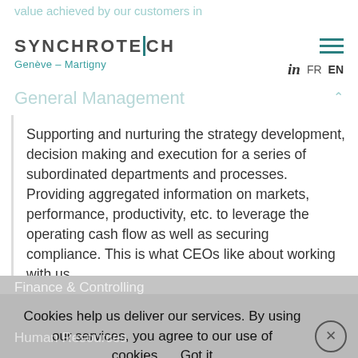value achieved by our customers in
[Figure (logo): SYNCHROTECH logo with tagline Genève – Martigny and navigation hamburger menu with LinkedIn, FR, EN links]
General Management
Supporting and nurturing the strategy development, decision making and execution for a series of subordinated departments and processes. Providing aggregated information on markets, performance, productivity, etc. to leverage the operating cash flow as well as securing compliance. This is what CEOs like about working with us.
Finance & Controlling
Cookies help us deliver our services. By using our services, you agree to our use of cookies.     Got it
Human Resources